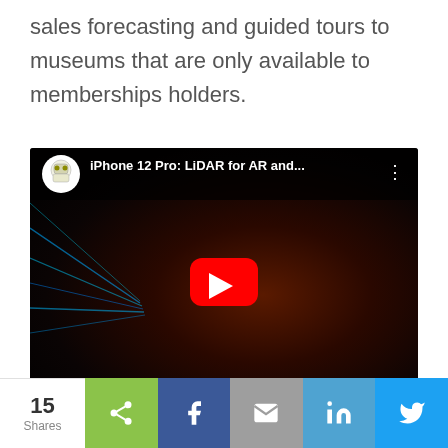sales forecasting and guided tours to museums that are only available to memberships holders.
[Figure (screenshot): YouTube video embed showing 'iPhone 12 Pro: LiDAR for AR and...' with a dark thumbnail of a person holding a phone emitting blue laser beams, with a red YouTube play button in the center.]
15 Shares | Share buttons: share, Facebook, email, LinkedIn, Twitter